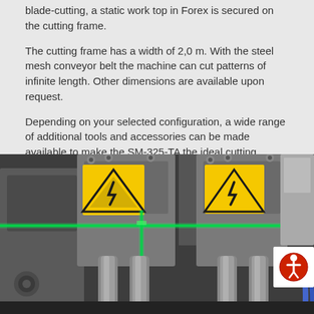blade-cutting, a static work top in Forex is secured on the cutting frame.
The cutting frame has a width of 2,0 m. With the steel mesh conveyor belt the machine can cut patterns of infinite length. Other dimensions are available upon request.
Depending on your selected configuration, a wide range of additional tools and accessories can be made available to make the SM-325-TA the ideal cutting solution for your automated manufacturing requirements.
[Figure (photo): Close-up photograph of a cutting machine head showing metal components, bolts, green laser alignment beams, and yellow warning triangle labels on a grey industrial cutting machine.]